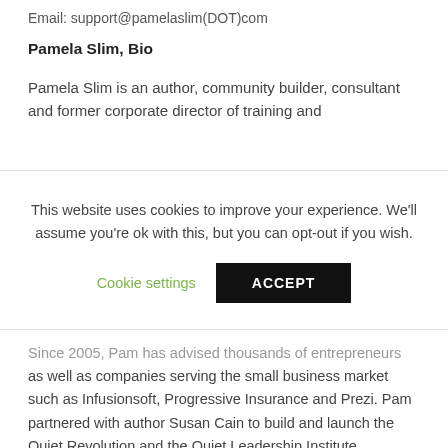Email: support@pamelaslim(DOT)com
Pamela Slim, Bio
Pamela Slim is an author, community builder, consultant and former corporate director of training and
This website uses cookies to improve your experience. We'll assume you're ok with this, but you can opt-out if you wish.
Cookie settings  ACCEPT
Since 2005, Pam has advised thousands of entrepreneurs as well as companies serving the small business market such as Infusionsoft, Progressive Insurance and Prezi. Pam partnered with author Susan Cain to build and launch the Quiet Revolution and the Quiet Leadership Institute.